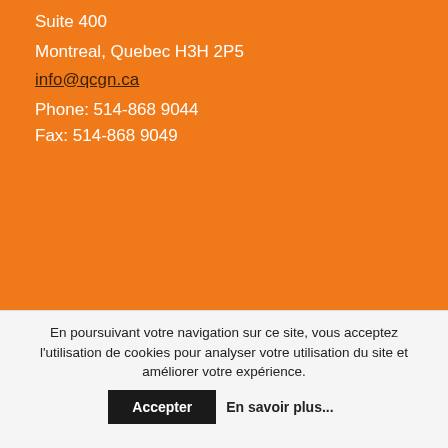Suite 400
Montreal, Quebec H3H 2P5
info@qcgn.ca
Phone: 514-868 9044
Fax: 514-868 9049
FOLLOW US
[Figure (other): Social media icons: Facebook, Twitter, YouTube]
En poursuivant votre navigation sur ce site, vous acceptez l'utilisation de cookies pour analyser votre utilisation du site et améliorer votre expérience.
Accepter  En savoir plus...